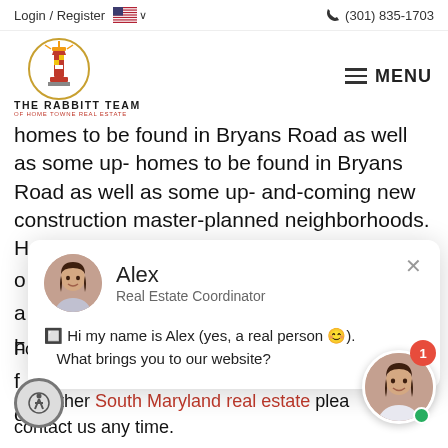Login / Register   (301) 835-1703
[Figure (logo): The Rabbitt Team of Home Towne Real Estate lighthouse logo]
homes to be found in Bryans Road as well as some up-and-coming new construction master-planned neighborhoods. Homes and land in more rural areas
[Figure (screenshot): Chat popup with Alex, Real Estate Coordinator. Message: Hi my name is Alex (yes, a real person). What brings you to our website?]
For more information on available homes in Bryans Road and other South Maryland real estate please contact us any time.